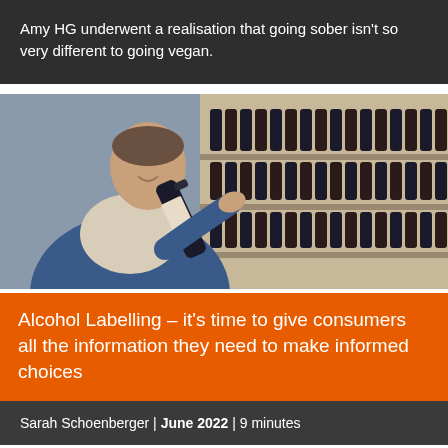Amy HG underwent a realisation that going sober isn't so very different to going vegan.
[Figure (photo): A man in a denim jacket examining a wine bottle in a store aisle lined with bottles of red wine]
Alcohol Labelling – it's time to give consumers all the information they need to make informed choices
Sarah Schoenberger | June 2022 | 9 minutes